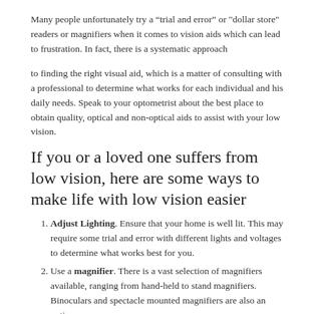Many people unfortunately try a “trial and error” or "dollar store" readers or magnifiers when it comes to vision aids which can lead to frustration. In fact, there is a systematic approach
to finding the right visual aid, which is a matter of consulting with a professional to determine what works for each individual and his daily needs. Speak to your optometrist about the best place to obtain quality, optical and non-optical aids to assist with your low vision.
If you or a loved one suffers from low vision, here are some ways to make life with low vision easier
Adjust Lighting. Ensure that your home is well lit. This may require some trial and error with different lights and voltages to determine what works best for you.
Use a magnifier. There is a vast selection of magnifiers available, ranging from hand-held to stand magnifiers. Binoculars and spectacle mounted magnifiers are also an option.
Your optometrist or low vision specialist can recommend specialized lens tints for certain conditions such as retinitis